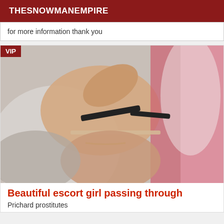THESNOWMANEMPIRE
for more information thank you
[Figure (photo): Photo of a person in a bikini top lying on a bed with pink and white fabric in the background, with a VIP badge overlay in the top-left corner.]
Beautiful escort girl passing through
Prichard prostitutes